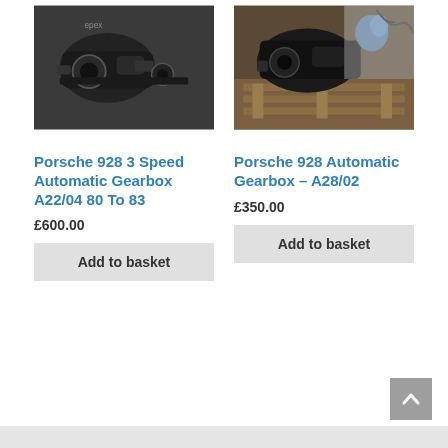[Figure (photo): Photo of a Porsche 928 3 Speed Automatic Gearbox A22/04, a dark metal automotive gearbox unit on a grey floor]
[Figure (photo): Photo of a Porsche 928 Automatic Gearbox A28/02, dark metal gearbox parts on wooden pallets]
Porsche 928 3 Speed Automatic Gearbox A22/04 80 To 83
£600.00
Add to basket
Porsche 928 Automatic Gearbox – A28/02
£350.00
Add to basket